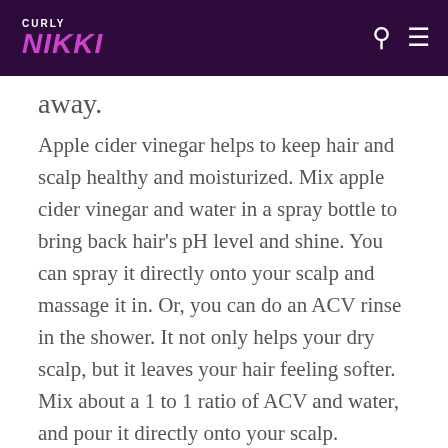CURLY NIKKI
away.
Apple cider vinegar helps to keep hair and scalp healthy and moisturized. Mix apple cider vinegar and water in a spray bottle to bring back hair's pH level and shine. You can spray it directly onto your scalp and massage it in. Or, you can do an ACV rinse in the shower. It not only helps your dry scalp, but it leaves your hair feeling softer. Mix about a 1 to 1 ratio of ACV and water, and pour it directly onto your scalp. Distribute it through your hair with your fingers and let it sit for a couple of minutes.